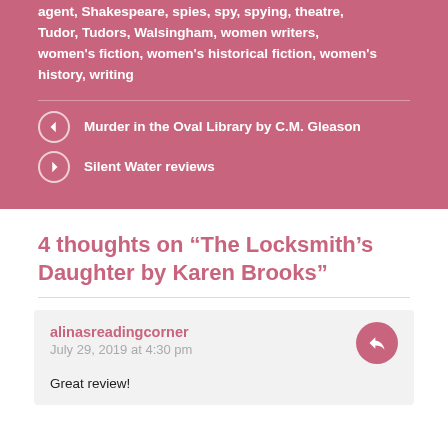agent, Shakespeare, spies, spy, spying, theatre, Tudor, Tudors, Walsingham, women writers, women's fiction, women's historical fiction, women's history, writing
Murder in the Oval Library by C.M. Gleason
Silent Water reviews
4 thoughts on “The Locksmith’s Daughter by Karen Brooks”
alinasreadingcorner
July 29, 2019 at 4:30 pm

Great review!